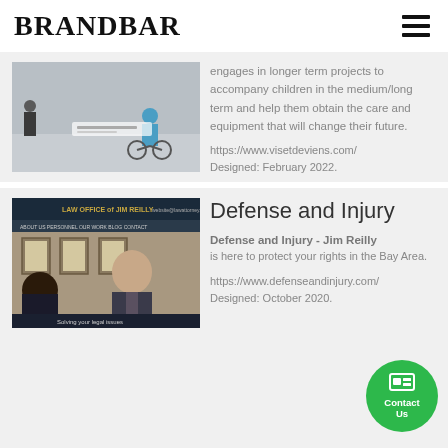BRANDBAR
[Figure (screenshot): Screenshot of a website showing a child on a bicycle on a grey background]
engages in longer term projects to accompany children in the medium/long term and help them obtain the care and equipment that will change their future.
https://www.visetdeviens.com/
Designed: February 2022.
[Figure (screenshot): Screenshot of Law Office of Jim Reilly website showing a bald man in a suit meeting with a client]
Defense and Injury
Defense and Injury - Jim Reilly is here to protect your rights in the Bay Area.
https://www.defenseandinjury.com/
Designed: October 2020.